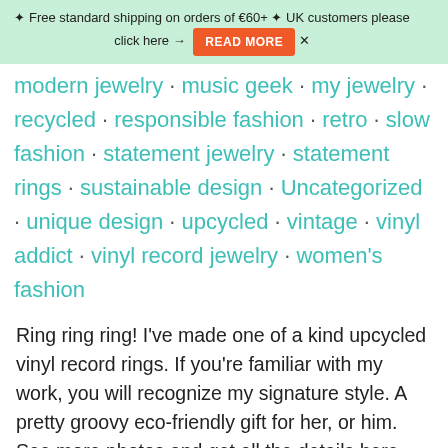✦ Free standard shipping on orders of €60+ ✦ UK customers please click here → READ MORE
modern jewelry · music geek · my jewelry · recycled · responsible fashion · retro · slow fashion · statement jewelry · statement rings · sustainable design · Uncategorized · unique design · upcycled · vintage · vinyl addict · vinyl record jewelry · women's fashion
Ring ring ring! I've made one of a kind upcycled vinyl record rings. If you're familiar with my work, you will recognize my signature style. A pretty groovy eco-friendly gift for her, or him. See more photos and get all the details here. [gallery ids="339,340,341,342,343,344,345…" type="rectangular" link="none"]